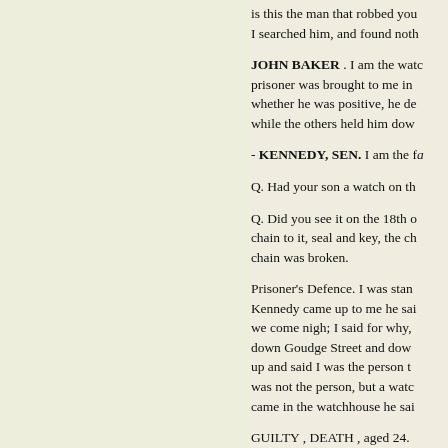is this the man that robbed you? I searched him, and found noth-
JOHN BAKER . I am the watch- prisoner was brought to me in c- whether he was positive, he de- while the others held him down
- KENNEDY, SEN. I am the fa-
Q. Had your son a watch on th-
Q. Did you see it on the 18th o- chain to it, seal and key, the ch- chain was broken.
Prisoner’s Defence. I was stand- Kennedy came up to me he sai- we come nigh; I said for why, h- down Goudge Street and down- up and said I was the person th- was not the person, but a watc- came in the watchhouse he saie-
GUILTY , DEATH , aged 24.